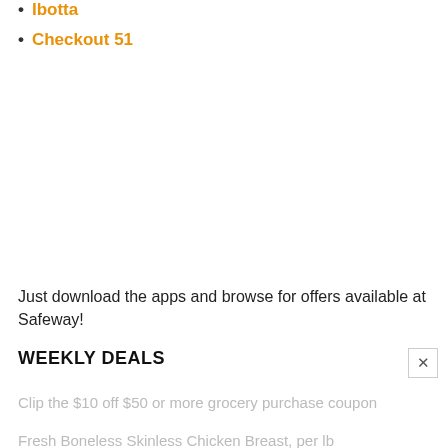Ibotta
Checkout 51
Just download the apps and browse for offers available at Safeway!
WEEKLY DEALS
Clip the $10 off $50 or more grocery purchase coupon
Fresh Boneless Skinless Chicken Breast, per lb